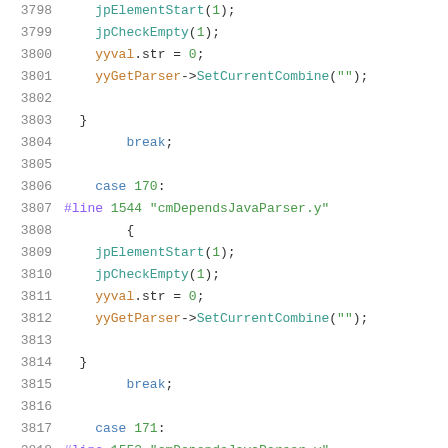Code listing lines 3798-3818, source file cmDependsJavaParser.y
3798    jpElementStart(1);
3799    jpCheckEmpty(1);
3800    yyval.str = 0;
3801    yyGetParser->SetCurrentCombine("");
3802
3803  }
3804        break;
3805
3806    case 170:
3807  #line 1544 "cmDependsJavaParser.y"
3808        {
3809    jpElementStart(1);
3810    jpCheckEmpty(1);
3811    yyval.str = 0;
3812    yyGetParser->SetCurrentCombine("");
3813
3814  }
3815        break;
3816
3817    case 171:
3818  #line 1553 "cmDependsJavaParser.y"